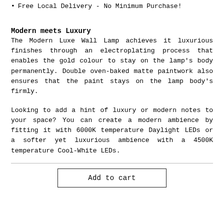Free Local Delivery - No Minimum Purchase!
Modern meets Luxury
The Modern Luxe Wall Lamp achieves it luxurious finishes through an electroplating process that enables the gold colour to stay on the lamp's body permanently. Double oven-baked matte paintwork also ensures that the paint stays on the lamp body's firmly.
Looking to add a hint of luxury or modern notes to your space? You can create a modern ambience by fitting it with 6000K temperature Daylight LEDs or a softer yet luxurious ambience with a 4500K temperature Cool-White LEDs.
Add to cart